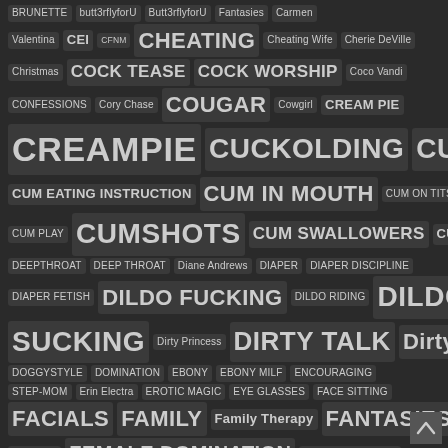[Figure (other): Tag cloud of adult content category keywords displayed on a dark background, with varying font sizes indicating frequency/popularity. Tags include: BRUNETTE, butt3rflyforU, Butt3rflyforU, Fantasies, Carmen Valentina, CEI, CFNM, CHEATING, Cheating Wife, Cherie DeVille, Christmas, COCK TEASE, COCK WORSHIP, Coco Vandi, CONFESSIONS, Cory Chase, COUGAR, Cowgirl, CREAM PIE, CREAMPIE, CUCKOLDING, CUM COUNTDOWN, CUM EATING INSTRUCTION, CUM IN MOUTH, CUM ON TITS, CUM PLAY, CUMSHOTS, CUM SWALLOWERS, CURVY, DEEPTHROAT, DEEP THROAT, Diane Andrews, DIAPER, DIAPER DISCIPLINE, DIAPER FETISH, DILDO FUCKING, DILDO RIDING, DILDO SUCKING, Dirty Princess, DIRTY TALK, Dirty Talking, DOGGYSTYLE, DOMINATION, EBONY, EBONY MILF, ENCOURAGING STEP-MOM, Erin Electra, EROTIC MAGIC, EYE GLASSES, FACE SITTING, FACIALS, FAMILY, Family Therapy, FANTASIES, Fantasy, FEET JOI, FEMALE DOMINATION, FEMALE TRAINING, FEMDOM, FEMDOM POV, FETISH, Fifi Foxx Fantasies, Financial Domination, FINGER FUCKING, FOOT FETISH, FOOTJOBS, FOOT WORSHIP, FUCKING, FUTANARI, GFE]